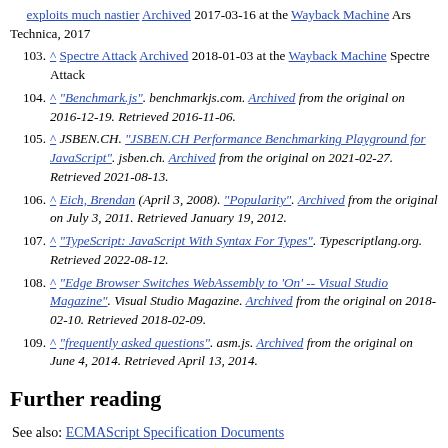^ exploits much nastier Archived 2017-03-16 at the Wayback Machine Ars Technica, 2017
103. ^ Spectre Attack Archived 2018-01-03 at the Wayback Machine Spectre Attack
104. ^ "Benchmark.js". benchmarkjs.com. Archived from the original on 2016-12-19. Retrieved 2016-11-06.
105. ^ JSBEN.CH. "JSBEN.CH Performance Benchmarking Playground for JavaScript". jsben.ch. Archived from the original on 2021-02-27. Retrieved 2021-08-13.
106. ^ Eich, Brendan (April 3, 2008). "Popularity". Archived from the original on July 3, 2011. Retrieved January 19, 2012.
107. ^ "TypeScript: JavaScript With Syntax For Types". Typescriptlang.org. Retrieved 2022-08-12.
108. ^ "Edge Browser Switches WebAssembly to 'On' -- Visual Studio Magazine". Visual Studio Magazine. Archived from the original on 2018-02-10. Retrieved 2018-02-09.
109. ^ "frequently asked questions". asm.js. Archived from the original on June 4, 2014. Retrieved April 13, 2014.
Further reading
See also: ECMAScript Specification Documents